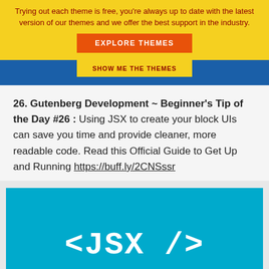Trying out each theme is free, you're always up to date with the latest version of our themes and we offer the best support in the industry.
[Figure (other): Orange button labeled EXPLORE THEMES]
[Figure (other): Yellow button labeled SHOW ME THE THEMES on blue bar]
26. Gutenberg Development ~ Beginner's Tip of the Day #26 : Using JSX to create your block UIs can save you time and provide cleaner, more readable code. Read this Official Guide to Get Up and Running https://buff.ly/2CNSssr
[Figure (illustration): Cyan/blue background with white monospace text reading <JSX />]